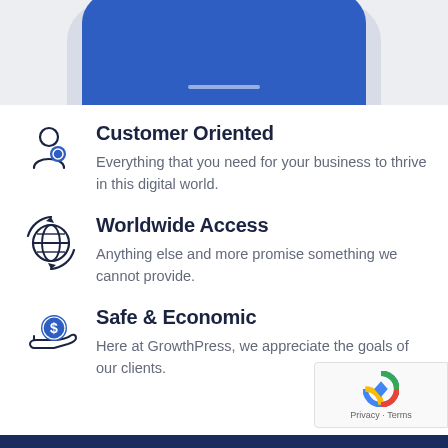[Figure (illustration): Top portion of a smartphone mockup with a blue rounded rectangle screen, partially cropped, on a light gray background]
Customer Oriented
Everything that you need for your business to thrive in this digital world.
Worldwide Access
Anything else and more promise something we cannot provide.
Safe & Economic
Here at GrowthPress, we appreciate the goals of our clients.
[Figure (logo): reCAPTCHA badge with Google reCAPTCHA logo, Privacy and Terms links]